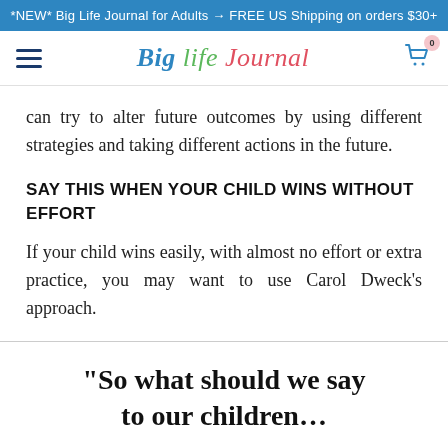*NEW* Big Life Journal for Adults 🡒 FREE US Shipping on orders $30+
[Figure (screenshot): Big Life Journal website navigation bar with hamburger menu, logo, and cart icon showing 0 items]
can try to alter future outcomes by using different strategies and taking different actions in the future.
SAY THIS WHEN YOUR CHILD WINS WITHOUT EFFORT
If your child wins easily, with almost no effort or extra practice, you may want to use Carol Dweck's approach.
“So what should we say to our children…